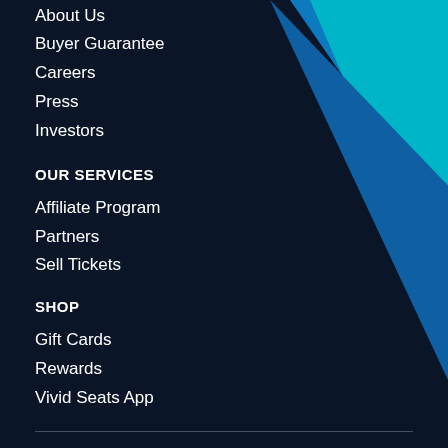About Us
Buyer Guarantee
Careers
Press
Investors
OUR SERVICES
Affiliate Program
Partners
Sell Tickets
SHOP
Gift Cards
Rewards
Vivid Seats App
Accessibility
Privacy Policy and Rights
Site Map